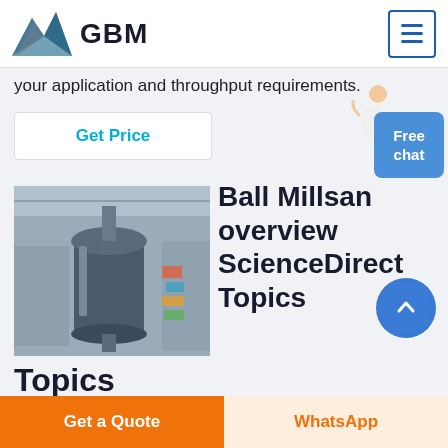GBM
your application and throughput requirements.
Get Price
[Figure (photo): Industrial ball mill machine inside a factory/warehouse setting]
Ball Millsan overview ScienceDirect Topics
8.3.2.2 Ball mills The ball mill is a tumbling mill that uses steel balls as the grinding media The leng
Free chat
Get a Quote
WhatsApp